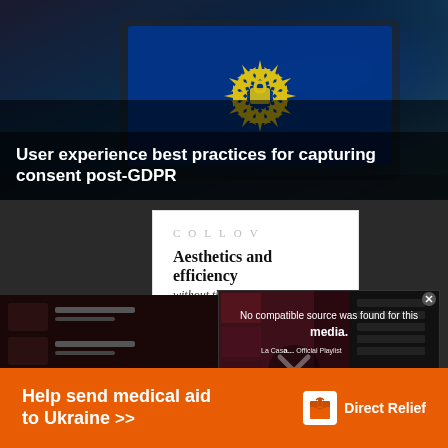[Figure (screenshot): Hero image: laptop with EU flag/lock imagery on screen, dark background]
User experience best practices for capturing consent post-GDPR
[Figure (screenshot): Collov website card showing logo and tagline 'Aesthetics and efficiency without the hefty price tag']
[Figure (screenshot): Spotify/media player showing 'No compatible source was found for this media.' error with X icon, La Casa de Papel Official Playlist, and EU ad banner]
Help send medical aid to Ukraine >>
[Figure (logo): Direct Relief logo with box icon and white text on orange background]